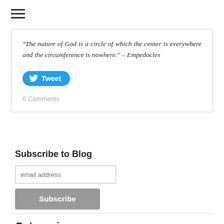[Figure (other): Hamburger menu icon (three horizontal lines)]
“The nature of God is a circle of which the center is everywhere and the circumference is nowhere.” – Empedocles
[Figure (other): Tweet button with Twitter bird icon]
0 Comments
Subscribe to Blog
email address
Subscribe
Categories